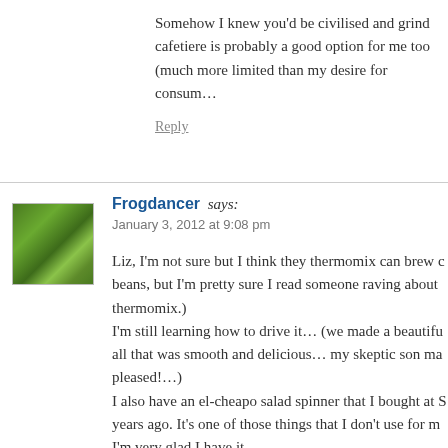Somehow I knew you'd be civilised and grind cafetiere is probably a good option for me too (much more limited than my desire for consum…
Reply
Frogdancer says:
January 3, 2012 at 9:08 pm
Liz, I'm not sure but I think they thermomix can brew beans, but I'm pretty sure I read someone raving about thermomix.)
I'm still learning how to drive it… (we made a beautifu all that was smooth and delicious… my skeptic son ma pleased!…)
I also have an el-cheapo salad spinner that I bought at S years ago. It's one of those things that I don't use for m I'm very glad I have it.